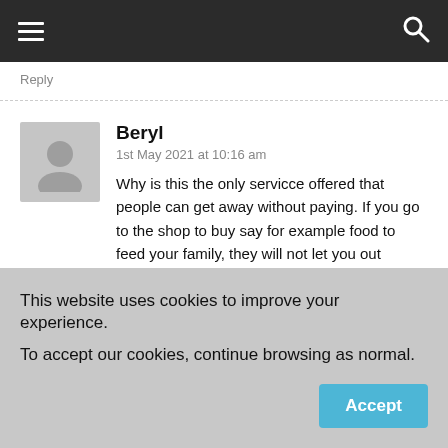[Navigation bar with hamburger menu and search icon]
Reply
Beryl
1st May 2021 at 10:16 am
Why is this the only servicce offered that people can get away without paying. If you go to the shop to buy say for example food to feed your family, they will not let you out without paying. Why is providing a premesis any different? We are landlords with one property for rent. We rely on the income from it to live and pay our debts.
Reply
This website uses cookies to improve your experience.
To accept our cookies, continue browsing as normal.